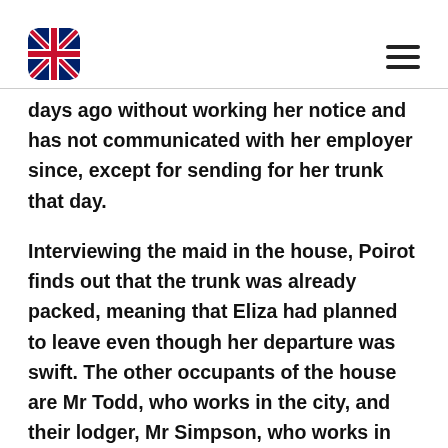[UK flag icon] [hamburger menu]
days ago without working her notice and has not communicated with her employer since, except for sending for her trunk that day.
Interviewing the maid in the house, Poirot finds out that the trunk was already packed, meaning that Eliza had planned to leave even though her departure was swift. The other occupants of the house are Mr Todd, who works in the city, and their lodger, Mr Simpson, who works in the same bank at which Mr Davis worked. Struck by this coincidence as he is, Poirot cannot see a connection between an absconding bank clerk and a missing cook. Poirot places advertisements in the newspaper enquiring as to the whereabouts of Eliza and